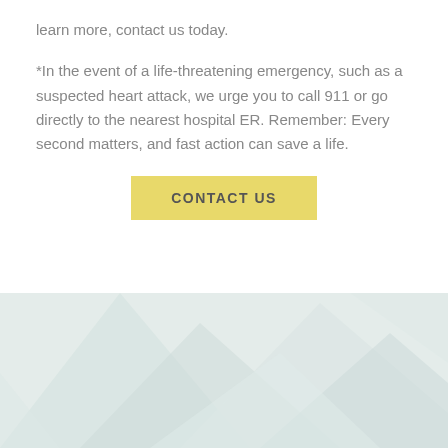learn more, contact us today.
*In the event of a life-threatening emergency, such as a suspected heart attack, we urge you to call 911 or go directly to the nearest hospital ER. Remember: Every second matters, and fast action can save a life.
CONTACT US
[Figure (illustration): Light blue-grey geometric polygon background decoration at the bottom of the page]